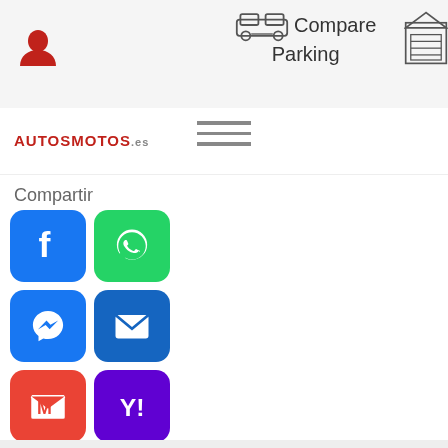Compare Parking
[Figure (logo): AUTOSMOTOS.es logo with hamburger menu icon]
Compartir
[Figure (infographic): Social sharing buttons: Facebook, WhatsApp, Messenger, Email, Gmail, Yahoo]
Demo
See All The Listings Of This Dealer
Additional Info